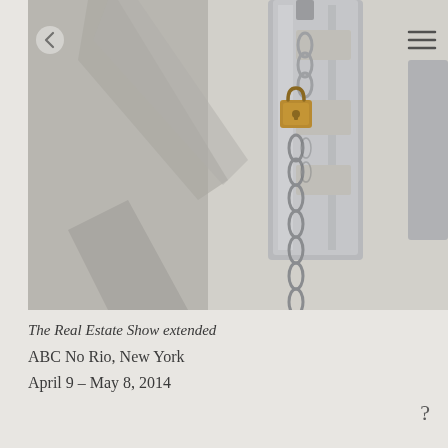[Figure (photo): Close-up photograph of a metal sculpture or architectural element with rectangular cutouts, secured with a brass padlock and a chain hanging down, photographed against a white textured wall with shadows visible.]
The Real Estate Show extended
ABC No Rio, New York
April 9 – May 8, 2014